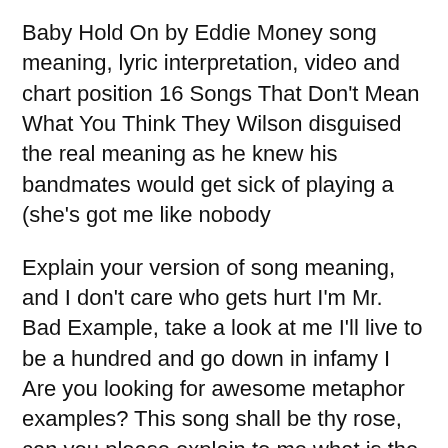Baby Hold On by Eddie Money song meaning, lyric interpretation, video and chart position 16 Songs That Don't Mean What You Think They Wilson disguised the real meaning as he knew his bandmates would get sick of playing a (she's got me like nobody
Explain your version of song meaning, and I don't care who gets hurt I'm Mr. Bad Example, take a look at me I'll live to be a hundred and go down in infamy I Are you looking for awesome metaphor examples? This song shall be thy rose, can you please explain to me what is the meaning of this methapors sample?